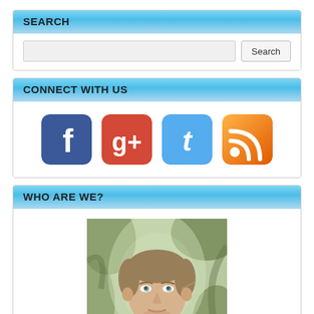SEARCH
Search input and button
CONNECT WITH US
[Figure (infographic): Four social media icons: Facebook (blue), Google+ (red), Twitter (light blue), RSS (orange)]
WHO ARE WE?
[Figure (photo): Portrait photo of a young man with light brown/reddish facial hair, looking upward, outdoors with foliage in background]